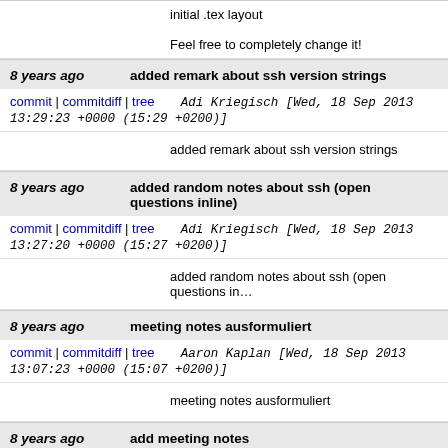initial .tex layout

Feel free to completely change it!
8 years ago  added remark about ssh version strings
commit | commitdiff | tree  Adi Kriegisch [Wed, 18 Sep 2013 13:29:23 +0000 (15:29 +0200)]
added remark about ssh version strings
8 years ago  added random notes about ssh (open questions inline)
commit | commitdiff | tree  Adi Kriegisch [Wed, 18 Sep 2013 13:27:20 +0000 (15:27 +0200)]
added random notes about ssh (open questions in...
8 years ago  meeting notes ausformuliert
commit | commitdiff | tree  Aaron Kaplan [Wed, 18 Sep 2013 13:07:23 +0000 (15:07 +0200)]
meeting notes ausformuliert
8 years ago  add meeting notes